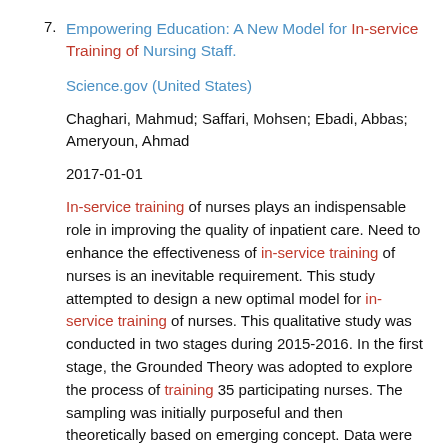7. Empowering Education: A New Model for In-service Training of Nursing Staff.
Science.gov (United States)
Chaghari, Mahmud; Saffari, Mohsen; Ebadi, Abbas; Ameryoun, Ahmad
2017-01-01
In-service training of nurses plays an indispensable role in improving the quality of inpatient care. Need to enhance the effectiveness of in-service training of nurses is an inevitable requirement. This study attempted to design a new optimal model for in-service training of nurses. This qualitative study was conducted in two stages during 2015-2016. In the first stage, the Grounded Theory was adopted to explore the process of training 35 participating nurses. The sampling was initially purposeful and then theoretically based on emerging concept. Data were collected through interview, observation and field notes. Moreover, the data were analyzed through Corbin-Strauss method and the data were coded through MAXQDA-10. In the second stage, the findings were employed through